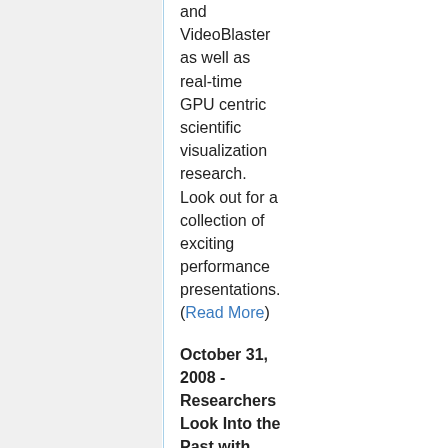and VideoBlaster as well as real-time GPU centric scientific visualization research. Look out for a collection of exciting performance presentations. (Read More)
October 31, 2008 - Researchers Look Into the Past with High-Resolution Digital Scans of Italy's